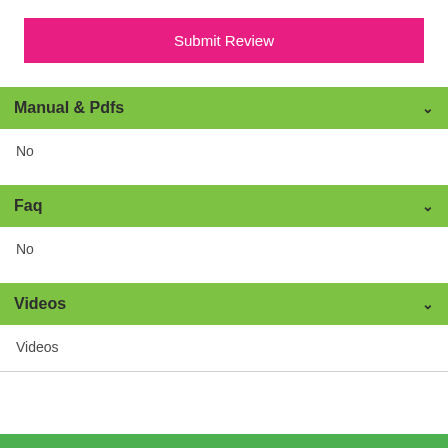Submit Review
Manual & Pdfs
No
Faq
No
Videos
Videos